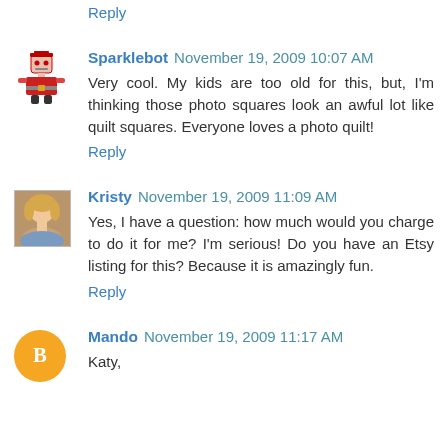Reply
Sparklebot  November 19, 2009 10:07 AM
Very cool. My kids are too old for this, but, I'm thinking those photo squares look an awful lot like quilt squares. Everyone loves a photo quilt!
Reply
Kristy  November 19, 2009 11:09 AM
Yes, I have a question: how much would you charge to do it for me? I'm serious! Do you have an Etsy listing for this? Because it is amazingly fun.
Reply
Mando  November 19, 2009 11:17 AM
Katy,